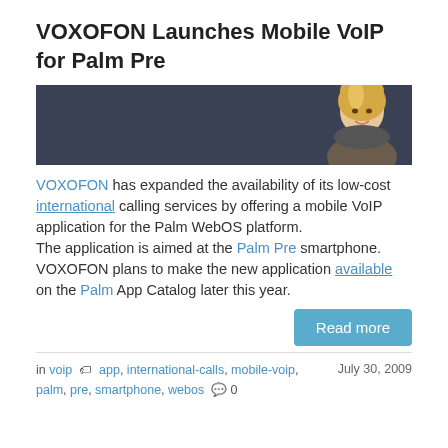VOXOFON Launches Mobile VoIP for Palm Pre
[Figure (photo): Banner image with dark blue/grey background and a woman with blonde hair holding a phone, smiling, positioned on the right side.]
VOXOFON has expanded the availability of its low-cost international calling services by offering a mobile VoIP application for the Palm WebOS platform.
The application is aimed at the Palm Pre smartphone. VOXOFON plans to make the new application available on the Palm App Catalog later this year.
Read more
in voip  app, international-calls, mobile-voip, palm, pre, smartphone, webos  0  July 30, 2009